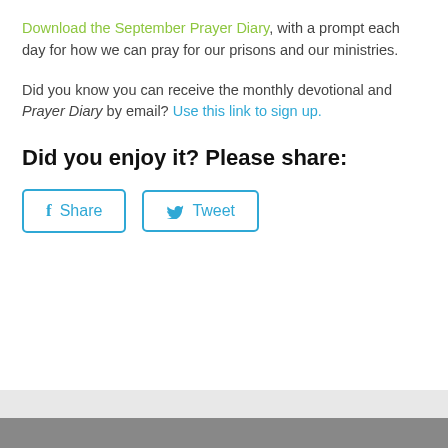Download the September Prayer Diary, with a prompt each day for how we can pray for our prisons and our ministries.
Did you know you can receive the monthly devotional and Prayer Diary by email? Use this link to sign up.
Did you enjoy it? Please share:
[Figure (other): Two social sharing buttons: a Facebook 'Share' button and a Twitter 'Tweet' button, both styled with a teal/blue border and icon.]